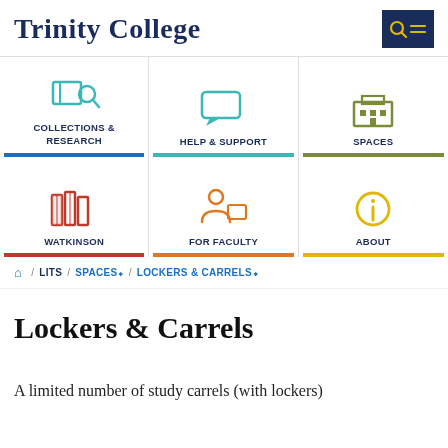Trinity College
[Figure (screenshot): Website navigation grid with 6 icons: Collections & Research (blue), Help & Support (teal), Spaces (olive/gray), Watkinson (red books), For Faculty (orange person-at-screen), About (yellow info circle)]
/ LITS / SPACES / LOCKERS & CARRELS
Lockers & Carrels
A limited number of study carrels (with lockers)